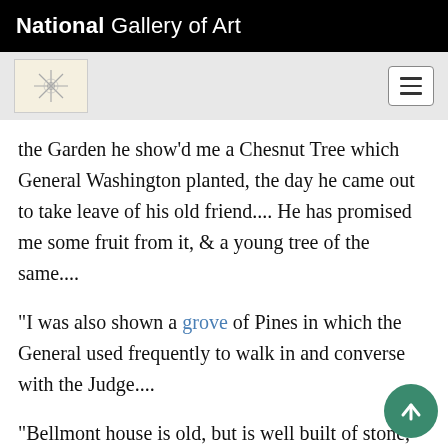National Gallery of Art
[Figure (logo): National Gallery of Art navigation bar with logo icon and hamburger menu button]
the Garden he show'd me a Chesnut Tree which General Washington planted, the day he came out to take leave of his old friend.... He has promised me some fruit from it, & a young tree of the same....
"I was also shown a grove of Pines in which the General used frequently to walk in and converse with the Judge....
"Bellmont house is old, but is well built of st... and like all the Country houses, has a Piazza... front. I don't see why those in England should not